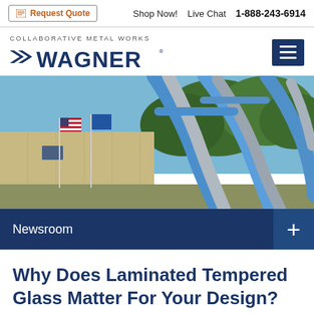Request Quote  Shop Now!  Live Chat  1-888-243-6914
[Figure (logo): Collaborative Metal Works Wagner logo with stylized W icon]
[Figure (photo): Outdoor photo showing curved blue and silver metal architectural railings/tubes in front of a building with flags and trees]
Newsroom
Why Does Laminated Tempered Glass Matter For Your Design?